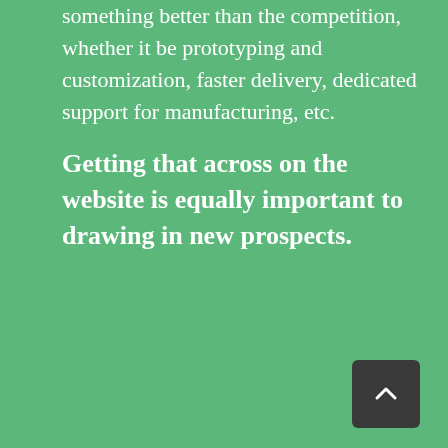something better than the competition, whether it be prototyping and customization, faster delivery, dedicated support for manufacturing, etc.
Getting that across on the website is equally important to drawing in new prospects.